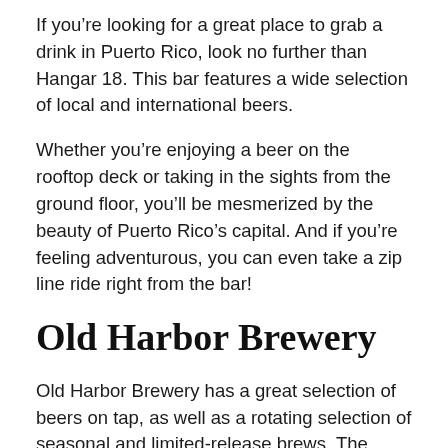If you're looking for a great place to grab a drink in Puerto Rico, look no further than Hangar 18. This bar features a wide selection of local and international beers.
Whether you're enjoying a beer on the rooftop deck or taking in the sights from the ground floor, you'll be mesmerized by the beauty of Puerto Rico's capital. And if you're feeling adventurous, you can even take a zip line ride right from the bar!
Old Harbor Brewery
Old Harbor Brewery has a great selection of beers on tap, as well as a rotating selection of seasonal and limited-release brews. The bartenders are always knowledgeable and passionate about the beers, and they're more than happy to help you find the perfect brew for your taste. The